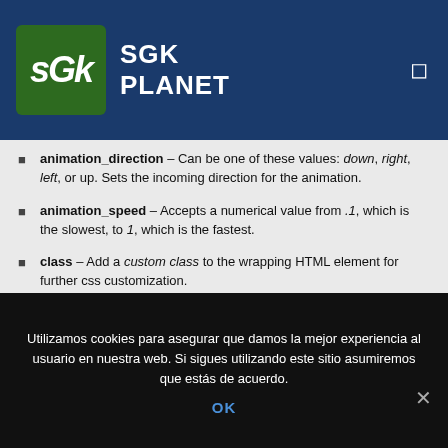SGK PLANET
animation_direction – Can be one of these values: down, right, left, or up. Sets the incoming direction for the animation.
animation_speed – Accepts a numerical value from .1, which is the slowest, to 1, which is the fastest.
class – Add a custom class to the wrapping HTML element for further css customization.
id – Add a custom id to the wrapping HTML element for further css customization.
Utilizamos cookies para asegurar que damos la mejor experiencia al usuario en nuestra web. Si sigues utilizando este sitio asumiremos que estás de acuerdo.
OK